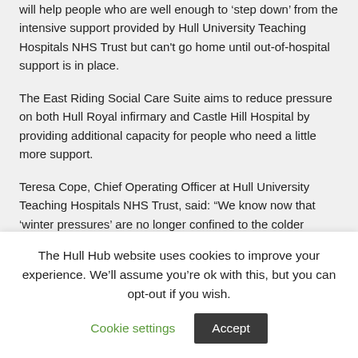will help people who are well enough to 'step down' from the intensive support provided by Hull University Teaching Hospitals NHS Trust but can't go home until out-of-hospital support is in place.
The East Riding Social Care Suite aims to reduce pressure on both Hull Royal infirmary and Castle Hill Hospital by providing additional capacity for people who need a little more support.
Teresa Cope, Chief Operating Officer at Hull University Teaching Hospitals NHS Trust, said: “We know now that ‘winter pressures’ are no longer confined to the colder months as we have seen sustained pressure on beds and staff all year long.
“However, it intensifies even further in December, January and
The Hull Hub website uses cookies to improve your experience. We’ll assume you’re ok with this, but you can opt-out if you wish.